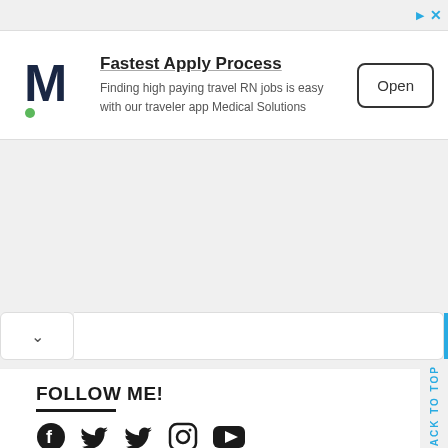[Figure (screenshot): Ad banner with Medical Solutions logo (M), title 'Fastest Apply Process', description text, and Open button]
Fastest Apply Process
Finding high paying travel RN jobs is easy with our traveler app Medical Solutions
FOLLOW ME!
[Figure (other): Social media icons: Facebook, Twitter, Twitter, Instagram, YouTube]